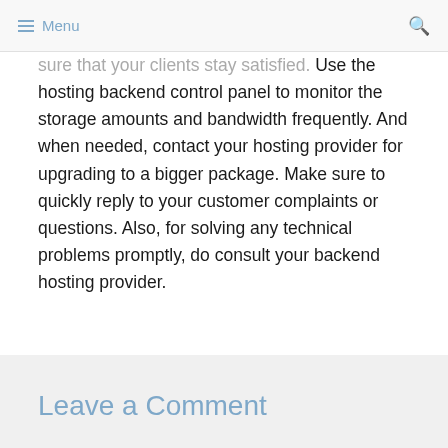≡ Menu
sure that your clients stay satisfied. Use the hosting backend control panel to monitor the storage amounts and bandwidth frequently. And when needed, contact your hosting provider for upgrading to a bigger package. Make sure to quickly reply to your customer complaints or questions. Also, for solving any technical problems promptly, do consult your backend hosting provider.
Leave a Comment